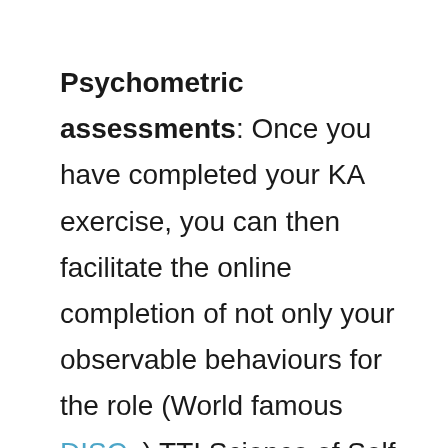Psychometric assessments: Once you have completed your KA exercise, you can then facilitate the online completion of not only your observable behaviours for the role (World famous DISC, ) TTI Science of Self can measure your Workplace Motivators- your why (Driving Forces) your actual on the Job Competencies and your potential- what can you